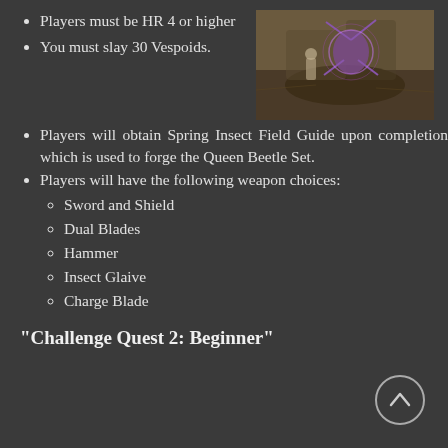Players must be HR 4 or higher
[Figure (screenshot): In-game screenshot showing a player fighting Vespoids in a dark cave environment with purple glowing effects]
You must slay 30 Vespoids.
Players will obtain Spring Insect Field Guide upon completion which is used to forge the Queen Beetle Set.
Players will have the following weapon choices:
Sword and Shield
Dual Blades
Hammer
Insect Glaive
Charge Blade
“Challenge Quest 2: Beginner”